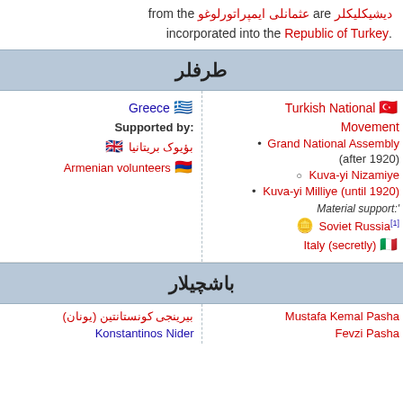دیشیکلیکلر are عثمانلی ایمپراتورلوغو from the .incorporated into the Republic of Turkey
طرفلر
| Greek side (right) | Turkish side (left) |
| --- | --- |
| Greece 🇬🇷 | Turkish National Movement 🇹🇷 |
| :Supported by | • Grand National Assembly (after 1920) |
| بؤیوک بریتانیا 🇬🇧 | ○ Kuva-yi Nizamiye |
| Armenian volunteers 🇦🇲 | • Kuva-yi Milliye (until 1920) |
|  | 'Material support: |
|  | [1]Soviet Russia 🇷🇺 |
|  | Italy (secretly) 🇮🇹 |
باشچیلار
| Greek commanders | Turkish commanders |
| --- | --- |
| بیرینجی کونستانتین (یونان) | Mustafa Kemal Pasha |
| Konstantinos Nider | Fevzi Pasha |